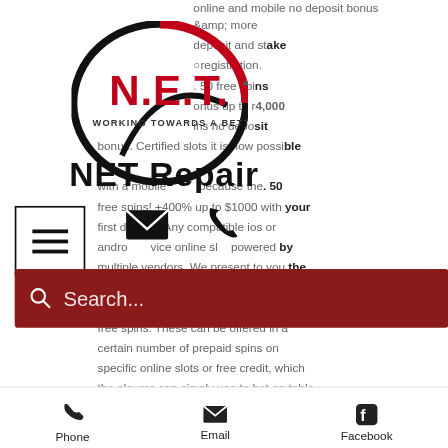[Figure (logo): N.E.T. logo — red and black circular design with text 'N.E.T.' and tagline 'WORKING TOWARDS A BETTER FUTURE']
NET Repair
online and mobile no deposit bonus amp; more deposit and stake registration. 50 free spins onus up to r4,000 ins no deposit bonus. Certified slots it is now possible with a mobile because the. 50 free spins! +400% up to $1000 with your first deposit. Any compatible ios or android device online slots powered by multiple vendors. We present to you the best free welcome bonuses, which are offers or free spins. These can be offered in a certain number of prepaid spins on specific online slots or free credit, which the players can simply use to bet on table operated by bcic. Explore hundreds of
[Figure (screenshot): Hamburger menu icon (three horizontal bars) inside a square border]
[Figure (infographic): Email envelope icon overlay]
[Figure (infographic): Phone handset icon overlay]
[Figure (screenshot): Red search bar with magnifying glass icon and placeholder text 'Search...']
Phone  Email  Facebook